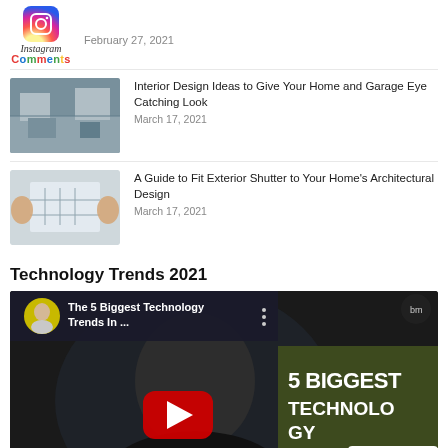[Figure (logo): Instagram logo icon with 'Instagram' text and colorful 'Comments' label below]
February 27, 2021
[Figure (photo): Interior design photo showing a modern living room]
Interior Design Ideas to Give Your Home and Garage Eye Catching Look
March 17, 2021
[Figure (photo): Architectural design photo showing exterior shutters]
A Guide to Fit Exterior Shutter to Your Home's Architectural Design
March 17, 2021
Technology Trends 2021
[Figure (screenshot): YouTube video thumbnail: The 5 Biggest Technology Trends In... featuring a man in foreground, red YouTube play button, and right panel showing text '5 BIGGEST TECHNOLOGY TRENDS IN 2021' on olive/dark green background. Top bar shows channel avatar, title, and 'bm' channel icon.]